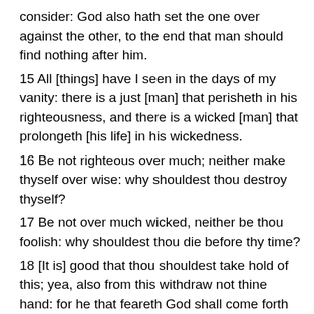consider: God also hath set the one over against the other, to the end that man should find nothing after him.
15 All [things] have I seen in the days of my vanity: there is a just [man] that perisheth in his righteousness, and there is a wicked [man] that prolongeth [his life] in his wickedness.
16 Be not righteous over much; neither make thyself over wise: why shouldest thou destroy thyself?
17 Be not over much wicked, neither be thou foolish: why shouldest thou die before thy time?
18 [It is] good that thou shouldest take hold of this; yea, also from this withdraw not thine hand: for he that feareth God shall come forth of them all.
19 Wisdom strengtheneth the wise more than ten mighty [men] which are in the city.
20 For [there is] not a just man upon earth, that doeth good, and sinneth not.
21 Also take no heed unto all words that are spoken; lest thou